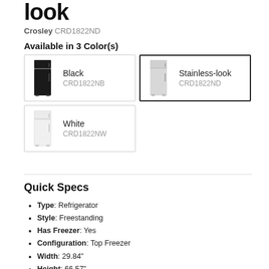look
Crosley CRD1822ND
Available in 3 Color(s)
Black CRD1822NB
Stainless-look CRD1822ND
White CRD1822NW
Quick Specs
Type: Refrigerator
Style: Freestanding
Has Freezer: Yes
Configuration: Top Freezer
Width: 29.84"
Height: 66.57"
Depth: 30.5"
Energy Star Rated: Yes
Refrigerator Size: 18.2 (cu. ft.)